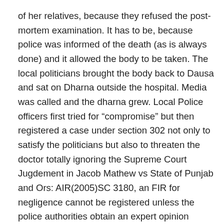of her relatives, because they refused the post-mortem examination. It has to be, because police was informed of the death (as is always done) and it allowed the body to be taken. The local politicians brought the body back to Dausa and sat on Dharna outside the hospital. Media was called and the dharna grew. Local Police officers first tried for “compromise” but then registered a case under section 302 not only to satisfy the politicians but also to threaten the doctor totally ignoring the Supreme Court Jugdement in Jacob Mathew vs State of Punjab and Ors: AIR(2005)SC 3180, an FIR for negligence cannot be registered unless the police authorities obtain an expert opinion either from SMC or MCI or Distt health authorities. This irresponsible and irrational decision taken by police affected Dr. Archana Sharma for being harassed absolutely wrongfully.